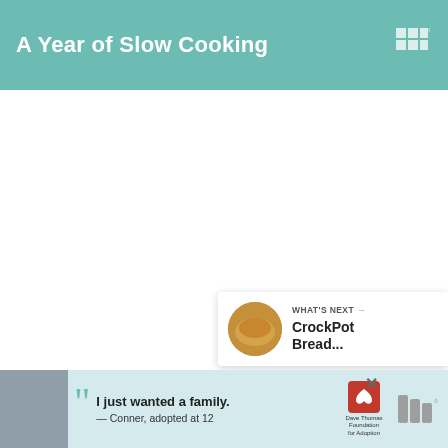A Year of Slow Cooking
[Figure (screenshot): Main content area of a blog/website - mostly white/blank space]
[Figure (infographic): Heart/like button (teal circle with heart icon), count of 1, and share button (white circle with share icon) floating on right side]
WHAT'S NEXT → CrockPot Bread...
[Figure (photo): Advertisement banner: boy with quote 'I just wanted a family. — Conner, adopted at 12' with Dave Thomas Foundation for Adoption logo]